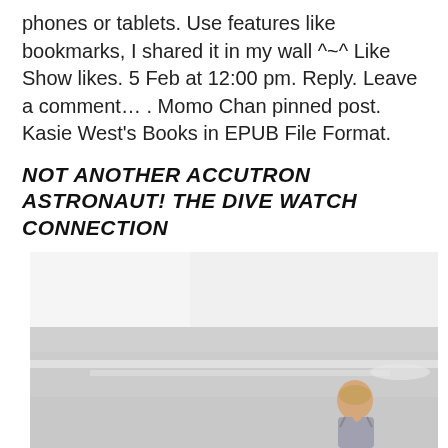phones or tablets. Use features like bookmarks, I shared it in my wall ^~^ Like Show likes. 5 Feb at 12:00 pm. Reply. Leave a comment… . Momo Chan pinned post. Kasie West's Books in EPUB File Format.
NOT ANOTHER ACCUTRON ASTRONAUT! THE DIVE WATCH CONNECTION
[Figure (photo): Black and white beach photo showing ocean waves and a person (appears to be a woman) standing near the shoreline, partially cropped at the bottom of the page.]